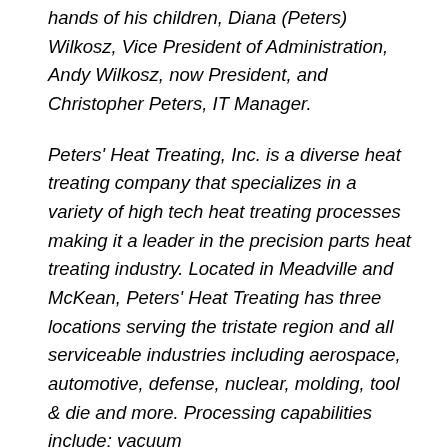hands of his children, Diana (Peters) Wilkosz, Vice President of Administration, Andy Wilkosz, now President, and Christopher Peters, IT Manager.
Peters' Heat Treating, Inc. is a diverse heat treating company that specializes in a variety of high tech heat treating processes making it a leader in the precision parts heat treating industry. Located in Meadville and McKean, Peters' Heat Treating has three locations serving the tristate region and all serviceable industries including aerospace, automotive, defense, nuclear, molding, tool & die and more. Processing capabilities include: vacuum